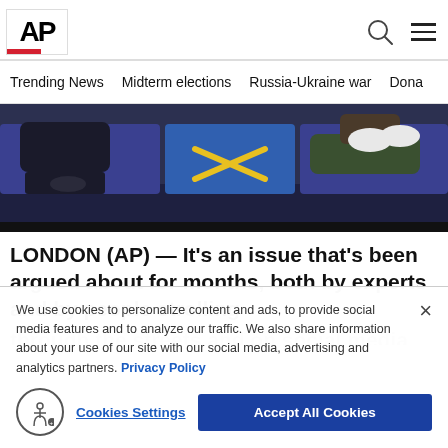[Figure (logo): AP (Associated Press) logo with red underbar]
Trending News   Midterm elections   Russia-Ukraine war   Dona
[Figure (photo): Two people sitting on subway/metro seats with a yellow X sticker on an empty blue seat between them, social distancing marker]
LONDON (AP) — It’s an issue that’s been argued about for months, both by experts and by people strolling
We use cookies to personalize content and ads, to provide social media features and to analyze our traffic. We also share information about your use of our site with our social media, advertising and analytics partners. Privacy Policy
Cookies Settings
Accept All Cookies